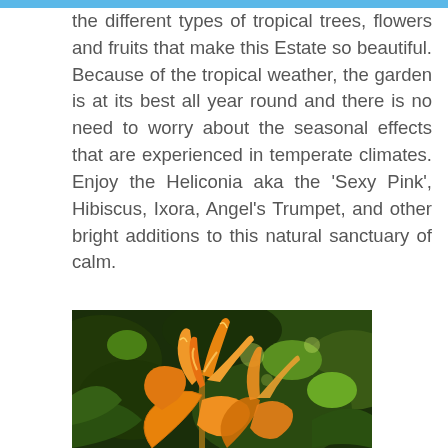the different types of tropical trees, flowers and fruits that make this Estate so beautiful. Because of the tropical weather, the garden is at its best all year round and there is no need to worry about the seasonal effects that are experienced in temperate climates. Enjoy the Heliconia aka the 'Sexy Pink', Hibiscus, Ixora, Angel's Trumpet, and other bright additions to this natural sanctuary of calm.
[Figure (photo): Close-up photograph of an orange Heliconia flower with dramatic spiky petals against a dark green tropical foliage background]